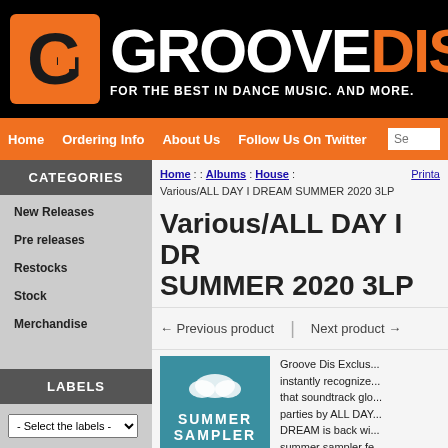[Figure (logo): GrooveDis logo with orange G icon and text 'GROOVEDIS FOR THE BEST IN DANCE MUSIC. AND MORE.' on black background]
Home  Ordering Info  About Us  Follow Us On Twitter  Se...
CATEGORIES
New Releases
Pre releases
Restocks
Stock
Merchandise
LABELS
- Select the labels -
Home : : Albums : House : Various/ALL DAY I DREAM SUMMER 2020 3LP
Various/ALL DAY I DREAM SUMMER 2020 3LP
← Previous product  |  Next product →
Groove Dis Exclusive. instantly recognized that soundtrack global parties by ALL DAY DREAM is back wi summer sampler fe 12 songs by artists MASS DIGITAL, D TOUCH, DAVID D